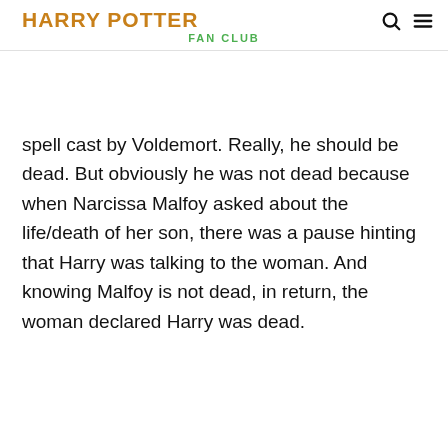HARRY POTTER FAN CLUB
spell cast by Voldemort. Really, he should be dead. But obviously he was not dead because when Narcissa Malfoy asked about the life/death of her son, there was a pause hinting that Harry was talking to the woman. And knowing Malfoy is not dead, in return, the woman declared Harry was dead.